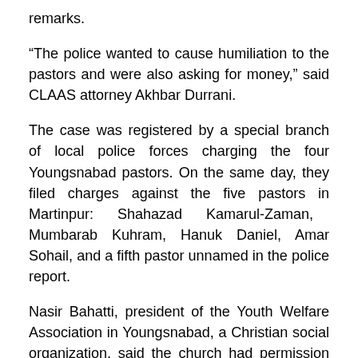remarks.
“The police wanted to cause humiliation to the pastors and were also asking for money,” said CLAAS attorney Akhbar Durrani.
The case was registered by a special branch of local police forces charging the four Youngsnabad pastors. On the same day, they filed charges against the five pastors in Martinpur: Shahazad Kamarul-Zaman, Mumbarab Kuhram, Hanuk Daniel, Amar Sohail, and a fifth pastor unnamed in the police report.
Nasir Bahatti, president of the Youth Welfare Association in Youngsnabad, a Christian social organization, said the church had permission to amplify the service and that the arrests were religiously motivated.